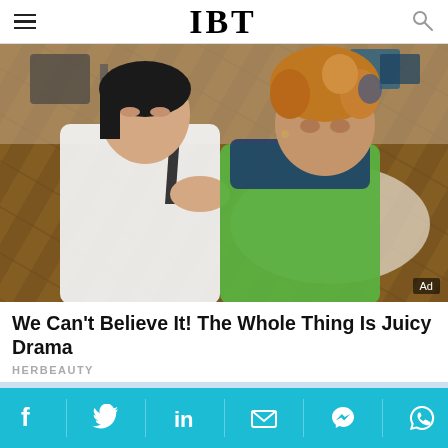IBT
[Figure (photo): Two young women posing together in a studio/room setting with wooden herringbone floor. One woman in white shirt with dark tie blowing a kiss; the other with curly reddish-blonde hair wearing a green sweater with blue scarf. Camera equipment visible in background.]
Ad
We Can't Believe It! The Whole Thing Is Juicy Drama
HERBEAUTY
[Figure (photo): Person jumping with arms raised against a light blue sky background.]
Social share bar with Facebook, Twitter, LinkedIn, Email, Messenger, WhatsApp icons